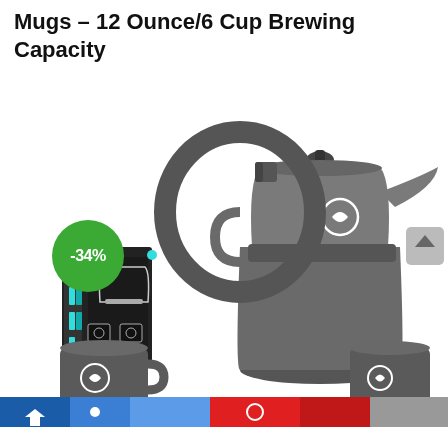Mugs – 12 Ounce/6 Cup Brewing Capacity
[Figure (photo): Product photo of a matte black stovetop moka pot espresso maker set with two mugs and product box. A green circular badge shows -34% discount. A scroll-up button is visible on the right side. Bottom of page shows a colored navigation bar with blue, red, and grey segments.]